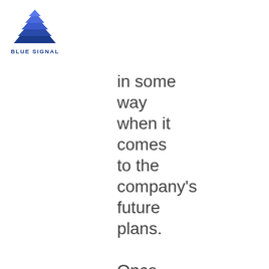[Figure (logo): Blue Signal company logo: blue layered triangle/mountain shape above the text 'BLUE SIGNAL' in bold navy letters]
in some way when it comes to the company's future plans.

Once you've settled on your goals – memorize